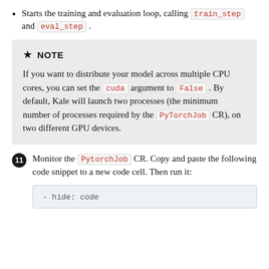Starts the training and evaluation loop, calling train_step and eval_step .
NOTE
If you want to distribute your model across multiple CPU cores, you can set the cuda argument to False . By default, Kale will launch two processes (the minimum number of processes required by the PyTorchJob CR), on two different GPU devices.
Monitor the PytorchJob CR. Copy and paste the following code snippet to a new code cell. Then run it:
- hide: code